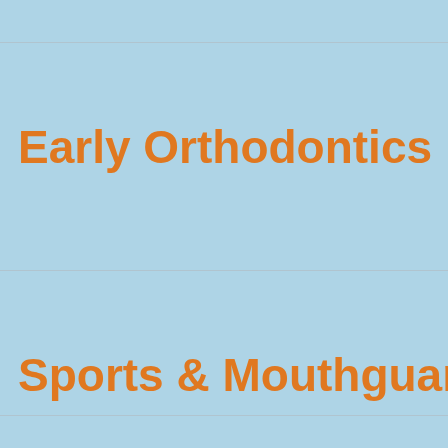Early Orthodontics
Sports & Mouthguards